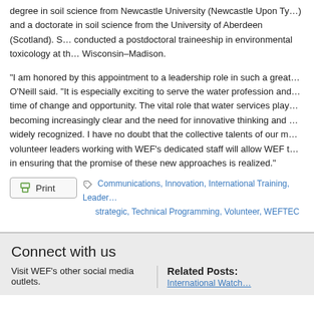degree in soil science from Newcastle University (Newcastle Upon Tyne) and a doctorate in soil science from the University of Aberdeen (Scotland). She conducted a postdoctoral traineeship in environmental toxicology at the University of Wisconsin–Madison.
“I am honored by this appointment to a leadership role in such a great organization,” O’Neill said. “It is especially exciting to serve the water profession and WEF during a time of change and opportunity. The vital role that water services play in our lives is becoming increasingly clear and the need for innovative thinking and best practices is widely recognized. I have no doubt that the collective talents of our member and volunteer leaders working with WEF’s dedicated staff will allow WEF to be a true leader in ensuring that the promise of these new approaches is realized.”
Communications, Innovation, International Training, Leadership, strategic, Technical Programming, Volunteer, WEFTEC
Connect with us
Visit WEF’s other social media outlets.
Related Posts: